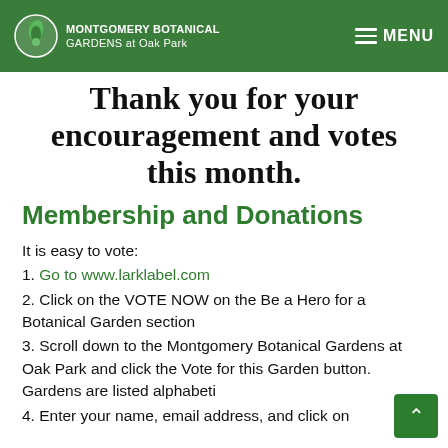MONTGOMERY BOTANICAL GARDENS at Oak Park | MENU
Thank you for your encouragement and votes this month.
Membership and Donations
It is easy to vote:
1. Go to www.larklabel.com
2. Click on the VOTE NOW on the Be a Hero for a Botanical Garden section
3. Scroll down to the Montgomery Botanical Gardens at Oak Park and click the Vote for this Garden button. Gardens are listed alphabeti…
4. Enter your name, email address, and click on the…